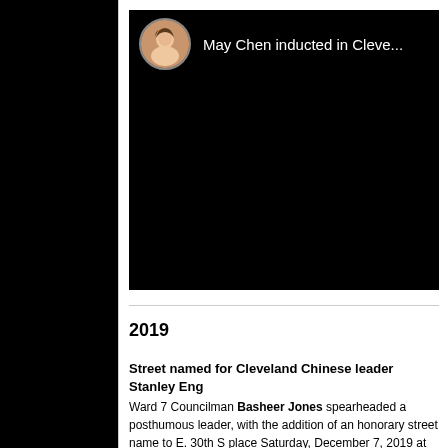[Figure (screenshot): Video thumbnail with circular avatar of a person and title text 'May Chen inducted in Cleve...' on black background]
2019
Street named for Cleveland Chinese leader Stanley Eng
Ward 7 Councilman Basheer Jones spearheaded a posthumous leader, with the addition of an honorary street name to E. 30th S place Saturday, December 7, 2019 at 11 a.m. at Asia Plaza